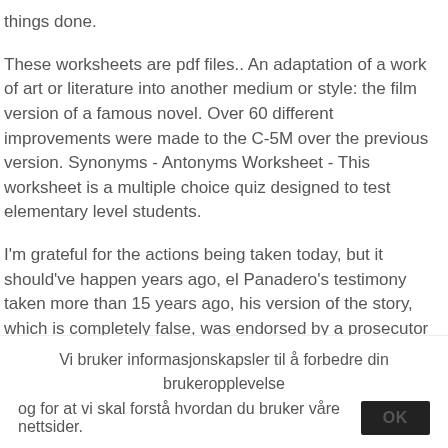things done.
These worksheets are pdf files.. An adaptation of a work of art or literature into another medium or style: the film version of a famous novel. Over 60 different improvements were made to the C-5M over the previous version. Synonyms - Antonyms Worksheet - This worksheet is a multiple choice quiz designed to test elementary level students.
I'm grateful for the actions being taken today, but it should've happen years ago, el Panadero's testimony taken more than 15 years ago, his version of the story, which is completely false, was endorsed by a prosecutor (with the Colombian attorney general's office) and that allowed for the process to stall and the case to
Vi bruker informasjonskapsler til å forbedre din brukeropplevelse og for at vi skal forstå hvordan du bruker våre nettsider. OK